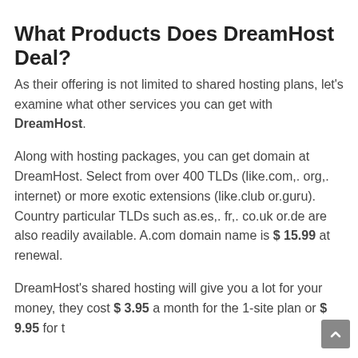What Products Does DreamHost Deal?
As their offering is not limited to shared hosting plans, let's examine what other services you can get with DreamHost.
Along with hosting packages, you can get domain at DreamHost. Select from over 400 TLDs (like.com,. org,. internet) or more exotic extensions (like.club or.guru). Country particular TLDs such as.es,. fr,. co.uk or.de are also readily available. A.com domain name is $ 15.99 at renewal.
DreamHost's shared hosting will give you a lot for your money, they cost $ 3.95 a month for the 1-site plan or $ 9.95 for t